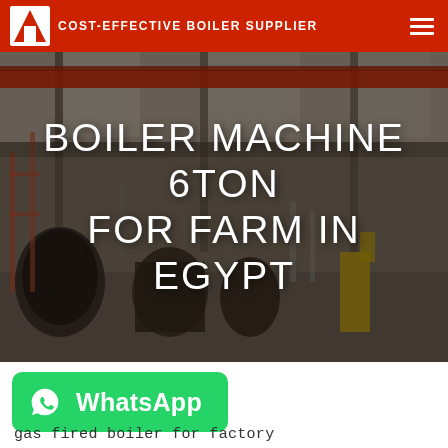COST-EFFECTIVE BOILER SUPPLIER
[Figure (photo): Industrial boiler factory interior with boiler equipment, red overhead crane, and machinery on the factory floor. Dimly overlaid with large white text overlay.]
BOILER MACHINE 6TON FOR FARM IN EGYPT
[Figure (other): WhatsApp contact button - green rounded rectangle with WhatsApp icon and label]
gas fired boiler for factory